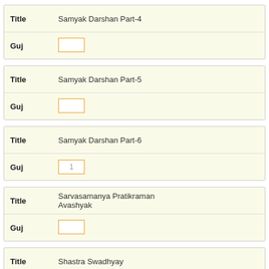| Label | Value |
| --- | --- |
| Title | Samyak Darshan Part-4 |
| Guj |  |
| Label | Value |
| --- | --- |
| Title | Samyak Darshan Part-5 |
| Guj |  |
| Label | Value |
| --- | --- |
| Title | Samyak Darshan Part-6 |
| Guj | 1 |
| Label | Value |
| --- | --- |
| Title | Sarvasamanya Pratikraman Avashyak |
| Guj |  |
| Label | Value |
| --- | --- |
| Title | Shastra Swadhyay |
| Guj |  |